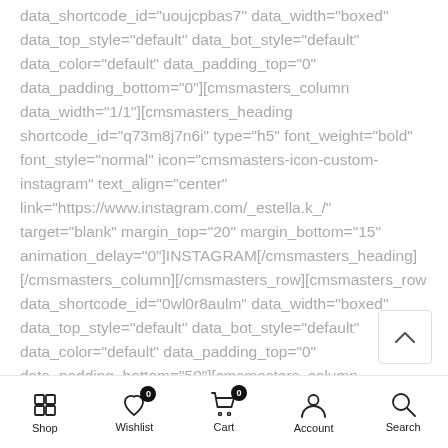data_shortcode_id="uoujcpbas7" data_width="boxed" data_top_style="default" data_bot_style="default" data_color="default" data_padding_top="0" data_padding_bottom="0"][cmsmasters_column data_width="1/1"][cmsmasters_heading shortcode_id="q73m8j7n6i" type="h5" font_weight="bold" font_style="normal" icon="cmsmasters-icon-custom-instagram" text_align="center" link="https://www.instagram.com/_estella.k_/" target="blank" margin_top="20" margin_bottom="15" animation_delay="0"]INSTAGRAM[/cmsmasters_heading][/cmsmasters_column][/cmsmasters_row][cmsmasters_row data_shortcode_id="0wl0r8aulm" data_width="boxed" data_top_style="default" data_bot_style="default" data_color="default" data_padding_top="0" data_padding_bottom="50"][cmsmasters_column
Shop | Wishlist 0 | Cart 0 | Account | Search